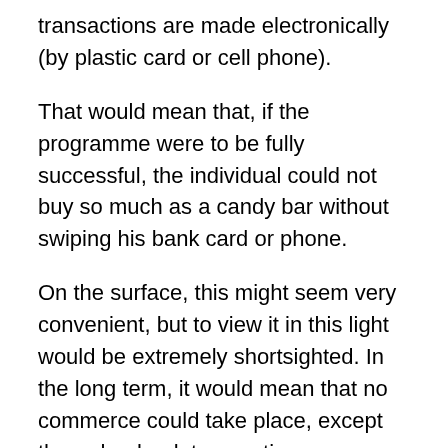transactions are made electronically (by plastic card or cell phone).
That would mean that, if the programme were to be fully successful, the individual could not buy so much as a candy bar without swiping his bank card or phone.
On the surface, this might seem very convenient, but to view it in this light would be extremely shortsighted. In the long term, it would mean that no commerce could take place, except through a bank transaction.
This would allow for banks to charge the client for the privilege of spending his own money. It would also discourage savings, as the depositor would be steadily losing his money through monthly interest charges.
But it doesn't stop there. The depositor would be virtually